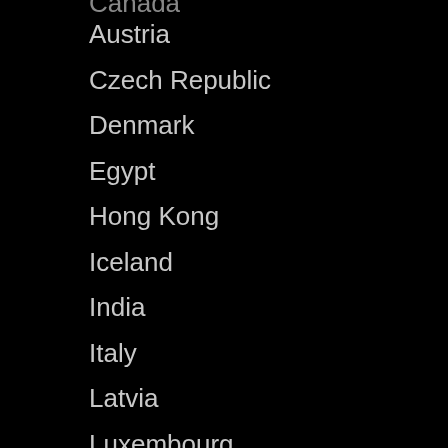Canada (partial)
Austria
Czech Republic
Denmark
Egypt
Hong Kong
Iceland
India
Italy
Latvia
Luxembourg
Malaysia
Netherlands
Norway
Panama
Romania
North Africa
Spain
Switzerland
Sweden (partial)